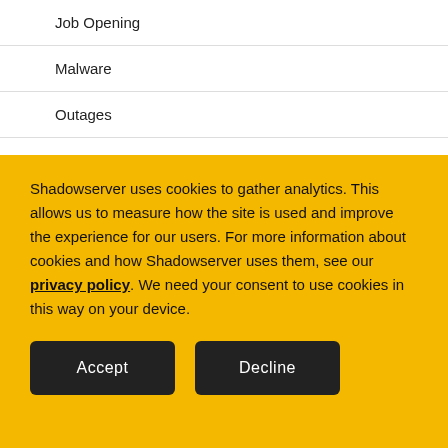Job Opening
Malware
Outages
Shadowserver uses cookies to gather analytics. This allows us to measure how the site is used and improve the experience for our users. For more information about cookies and how Shadowserver uses them, see our privacy policy. We need your consent to use cookies in this way on your device.
Accept
Decline